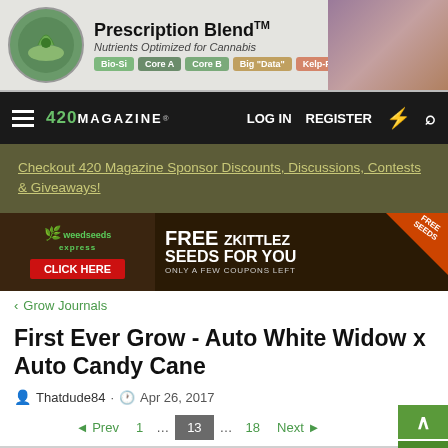[Figure (screenshot): Prescription Blend ad banner with logo, tagline 'Nutrients Optimized for Cannabis', and product pills: Bio-Si, Core A, Core B, Big 'Data', Kelp-Ful, Precursor 1]
420MAGAZINE  LOG IN  REGISTER
Checkout 420 Magazine Sponsor Discounts, Discussions, Contests & Giveaways!
[Figure (screenshot): Weedseeds Express ad banner: FREE ZKITTLEZ SEEDS FOR YOU ONLY A FEW COUPONS LEFT, with CLICK HERE button and FREE SEEDS corner badge]
< Grow Journals
First Ever Grow - Auto White Widow x Auto Candy Cane
Thatdude84 · Apr 26, 2017
◄ Prev  1  ...  13  ...  18  Next ►